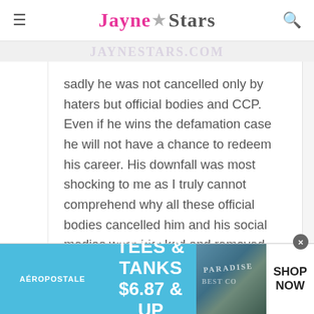JAYNE STARS
sadly he was not cancelled only by haters but official bodies and CCP. Even if he wins the defamation case he will not have a chance to redeem his career. His downfall was most shocking to me as I truly cannot comprehend why all these official bodies cancelled him and his social medias were blocked and removed.
[Figure (screenshot): Aeropostale advertisement banner: TEES & TANKS $6.87 & UP, SHOP NOW]